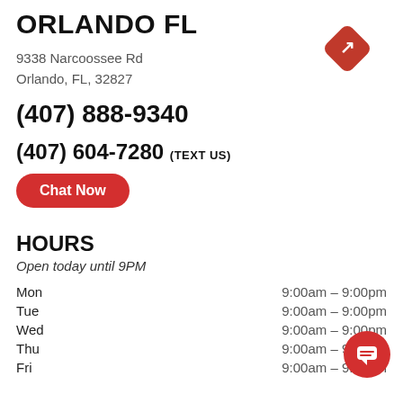ORLANDO FL
9338 Narcoossee Rd
Orlando, FL, 32827
(407) 888-9340
(407) 604-7280 (TEXT US)
Chat Now
HOURS
Open today until 9PM
| Day | Hours |
| --- | --- |
| Mon | 9:00am - 9:00pm |
| Tue | 9:00am - 9:00pm |
| Wed | 9:00am - 9:00pm |
| Thu | 9:00am - 9:00pm |
| Fri | 9:00am - 9:00pm |